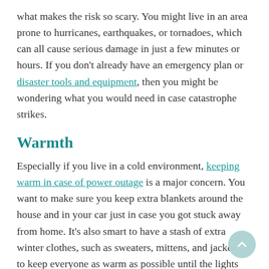what makes the risk so scary. You might live in an area prone to hurricanes, earthquakes, or tornadoes, which can all cause serious damage in just a few minutes or hours. If you don't already have an emergency plan or disaster tools and equipment, then you might be wondering what you would need in case catastrophe strikes.
Warmth
Especially if you live in a cold environment, keeping warm in case of power outage is a major concern. You want to make sure you keep extra blankets around the house and in your car just in case you got stuck away from home. It's also smart to have a stash of extra winter clothes, such as sweaters, mittens, and jackets, to keep everyone as warm as possible until the lights are back on.